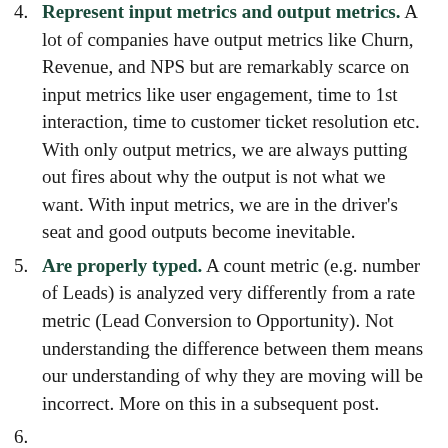Represent input metrics and output metrics. A lot of companies have output metrics like Churn, Revenue, and NPS but are remarkably scarce on input metrics like user engagement, time to 1st interaction, time to customer ticket resolution etc. With only output metrics, we are always putting out fires about why the output is not what we want. With input metrics, we are in the driver's seat and good outputs become inevitable.
Are properly typed. A count metric (e.g. number of Leads) is analyzed very differently from a rate metric (Lead Conversion to Opportunity). Not understanding the difference between them means our understanding of why they are moving will be incorrect. More on this in a subsequent post.
(truncated at bottom of page)